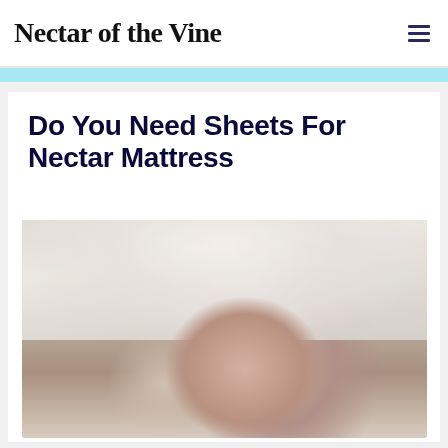Nectar of the Vine
Do You Need Sheets For Nectar Mattress
[Figure (photo): A young child with red hair lying in bed, peeking out from under white sheets/duvet, smiling at the camera]